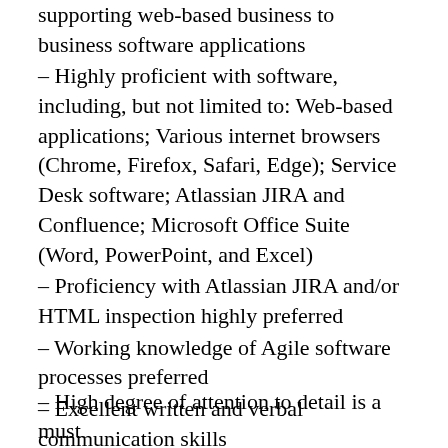supporting web-based business to business software applications
– Highly proficient with software, including, but not limited to: Web-based applications; Various internet browsers (Chrome, Firefox, Safari, Edge); Service Desk software; Atlassian JIRA and Confluence; Microsoft Office Suite (Word, PowerPoint, and Excel)
– Proficiency with Atlassian JIRA and/or HTML inspection highly preferred
– Working knowledge of Agile software processes preferred
– Excellent written and verbal communication skills
– Excellent time management and prioritization skills
– High degree of attention to detail is a must